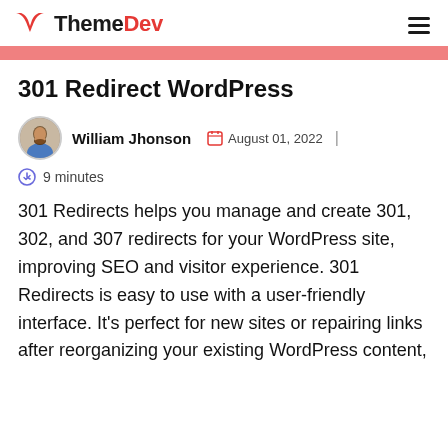ThemeDev
301 Redirect WordPress
William Jhonson  August 01, 2022
9 minutes
301 Redirects helps you manage and create 301, 302, and 307 redirects for your WordPress site, improving SEO and visitor experience. 301 Redirects is easy to use with a user-friendly interface. It's perfect for new sites or repairing links after reorganizing your existing WordPress content,